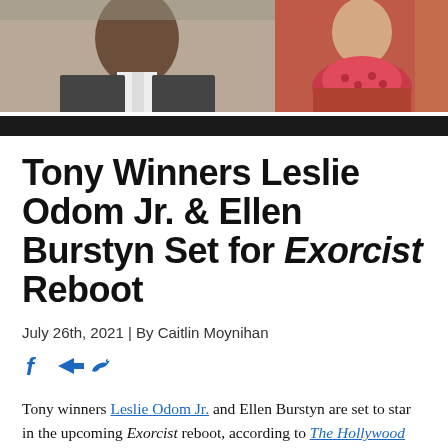[Figure (photo): Two photos side by side: left shows a man in a dark suit with white shirt, right shows a woman in a colorful red/pink scarf and jacket]
Tony Winners Leslie Odom Jr. & Ellen Burstyn Set for Exorcist Reboot
July 26th, 2021 | By Caitlin Moynihan
[Figure (infographic): Social share icons: Facebook (f), send/arrow, Twitter bird]
Tony winners Leslie Odom Jr. and Ellen Burstyn are set to star in the upcoming Exorcist reboot, according to The Hollywood Reporter. Odom Jr., who recently garnered an Emmy nomination for his turn in